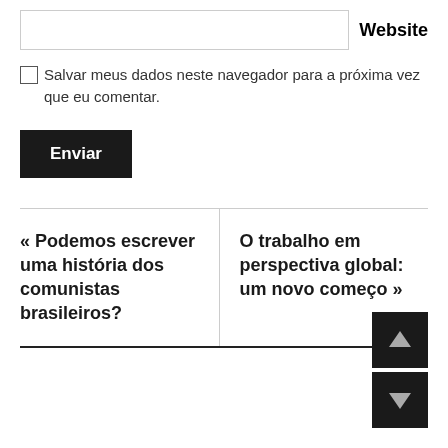Website
Salvar meus dados neste navegador para a próxima vez que eu comentar.
Enviar
« Podemos escrever uma história dos comunistas brasileiros?
O trabalho em perspectiva global: um novo começo »